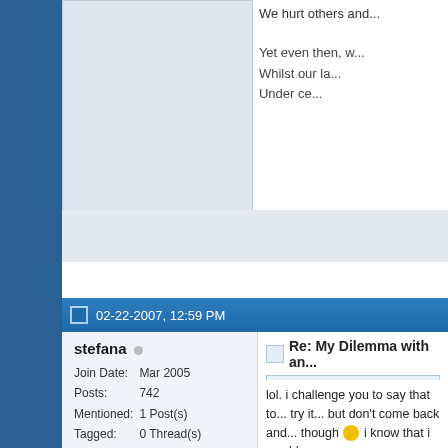We hurt others and...
Yet even then, w...
Whilst our la...
Under ce...
02-22-2007, 12:59 PM
stefana
Join Date: Mar 2005
Posts: 742
Mentioned: 1 Post(s)
Tagged: 0 Thread(s)
Re: My Dilemma with an...
Originally Posted b...
That may even seem f... explain it but EVERY c... is like this. I used to jus... laugh along with it but ... kept doing jokes like th... of ignoring it. He said t... a sense of humour ma... your not actually funn...
lol. i challenge you to say that to... try it... but don't come back and... though 🙂 i know that i would...